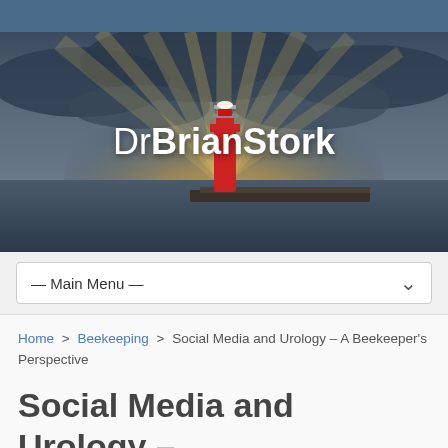[Figure (photo): Hero banner image showing a red lighthouse on a pier with dramatic golden sunbeams breaking through dark storm clouds over water. The website title 'DrBrianStork' is overlaid in white text.]
DrBrianStork
— Main Menu —
Home > Beekeeping > Social Media and Urology – A Beekeeper's Perspective
Social Media and Urology – A Beekeeper's Perspective